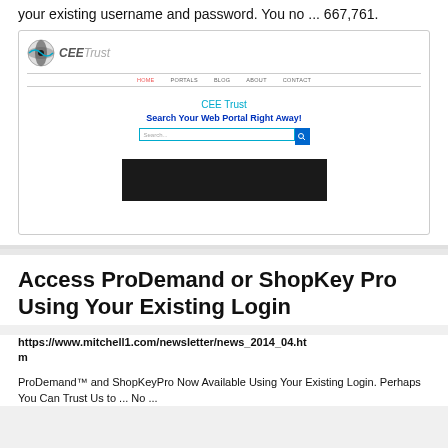your existing username and password. You no ... 667,761.
[Figure (screenshot): Screenshot of CEE Trust website showing logo, navigation bar, site title 'CEE Trust', tagline 'Search Your Web Portal Right Away!', a search input bar with blue button, and a dark banner at the bottom.]
Access ProDemand or ShopKey Pro Using Your Existing Login
https://www.mitchell1.com/newsletter/news_2014_04.htm
ProDemand™ and ShopKeyPro Now Available Using Your Existing Login. Perhaps You Can Trust Us to ... No ...